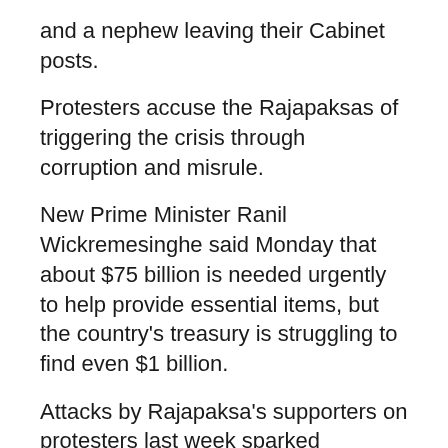and a nephew leaving their Cabinet posts.
Protesters accuse the Rajapaksas of triggering the crisis through corruption and misrule.
New Prime Minister Ranil Wickremesinghe said Monday that about $75 billion is needed urgently to help provide essential items, but the country's treasury is struggling to find even $1 billion.
Attacks by Rajapaksa's supporters on protesters last week sparked nationwide violence that left nine people, including a lawmaker, dead and more than 200 injured. Homes of lawmakers and their supporters were burned down.